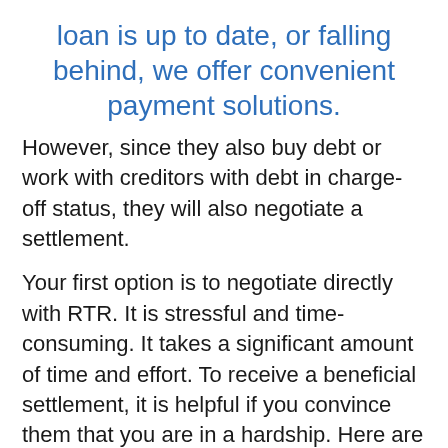loan is up to date, or falling behind, we offer convenient payment solutions.
However, since they also buy debt or work with creditors with debt in charge-off status, they will also negotiate a settlement.
Your first option is to negotiate directly with RTR. It is stressful and time-consuming. It takes a significant amount of time and effort. To receive a beneficial settlement, it is helpful if you convince them that you are in a hardship. Here are three tips: Be calm, clear, and convincing. Be persistent. Send a debt negotiation letter.